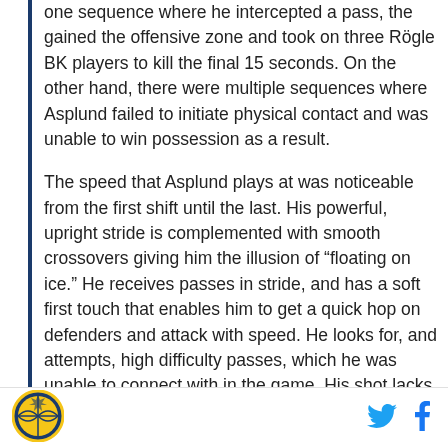one sequence where he intercepted a pass, the gained the offensive zone and took on three Rögle BK players to kill the final 15 seconds. On the other hand, there were multiple sequences where Asplund failed to initiate physical contact and was unable to win possession as a result.
The speed that Asplund plays at was noticeable from the first shift until the last. His powerful, upright stride is complemented with smooth crossovers giving him the illusion of “floating on ice.” He receives passes in stride, and has a soft first touch that enables him to get a quick hop on defenders and attack with speed. He looks for, and attempts, high difficulty passes, which he was unable to connect with in the game. His shot lacks in power, and in fact limits him to
[Figure (logo): Site logo — circular badge with basketball crosshatch design in gold and blue]